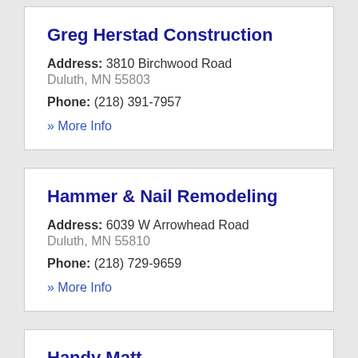Greg Herstad Construction
Address: 3810 Birchwood Road Duluth, MN 55803
Phone: (218) 391-7957
» More Info
Hammer & Nail Remodeling
Address: 6039 W Arrowhead Road Duluth, MN 55810
Phone: (218) 729-9659
» More Info
Handy Matt